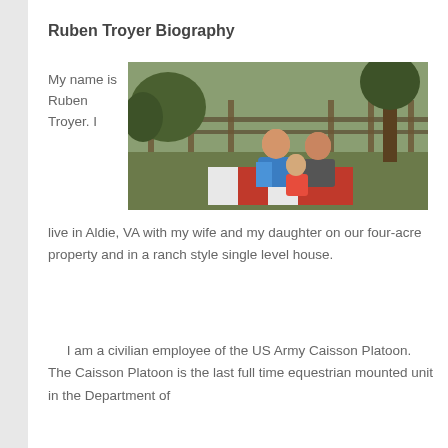Ruben Troyer Biography
[Figure (photo): Family photo of Ruben Troyer with his wife and daughter sitting on a blanket outdoors near a wooden fence and trees]
My name is Ruben Troyer. I live in Aldie, VA with my wife and my daughter on our four-acre property and in a ranch style single level house.
I am a civilian employee of the US Army Caisson Platoon. The Caisson Platoon is the last full time equestrian mounted unit in the Department of